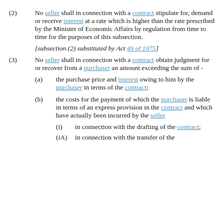(2) No seller shall in connection with a contract stipulate for, demand or receive interest at a rate which is higher than the rate prescribed by the Minister of Economic Affairs by regulation from time to time for the purposes of this subsection.
[subsection (2) substituted by Act 49 of 1975]
(3) No seller shall in connection with a contract obtain judgment for or recover from a purchaser an amount exceeding the sum of -
(a) the purchase price and interest owing to him by the purchaser in terms of the contract;
(b) the costs for the payment of which the purchaser is liable in terms of an express provision in the contract and which have actually been incurred by the seller
(i) in connection with the drafting of the contract;
(iA) in connection with the transfer of the